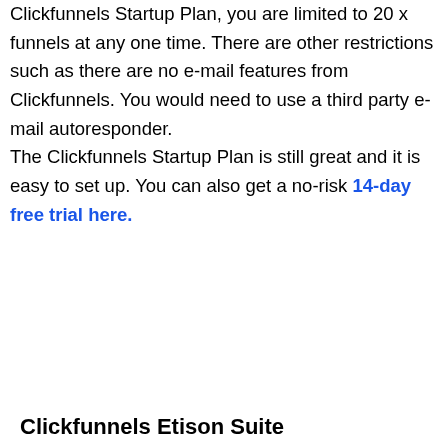Clickfunnels Startup Plan, you are limited to 20 x funnels at any one time. There are other restrictions such as there are no e-mail features from Clickfunnels. You would need to use a third party e-mail autoresponder.

The Clickfunnels Startup Plan is still great and it is easy to set up. You can also get a no-risk 14-day free trial here.
Clickfunnels Etison Suite